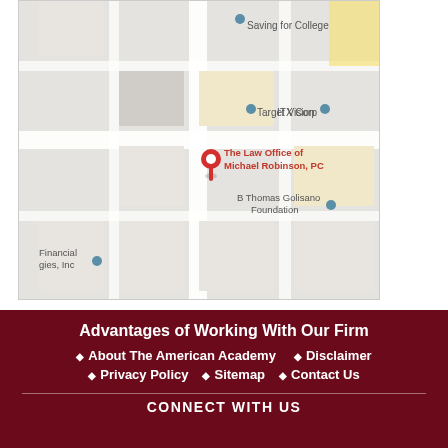[Figure (map): Google Maps screenshot showing the location of The Law Office of Michael Robinson, PC. Nearby landmarks include Target Vision, ITX Corp, B Thomas Golisano Foundation, Financial Strategies Inc, and Saving for College. A red pin marks the law office location.]
Advantages of Working With Our Firm
About The American Academy
Disclaimer
Privacy Policy
Sitemap
Contact Us
CONNECT WITH US